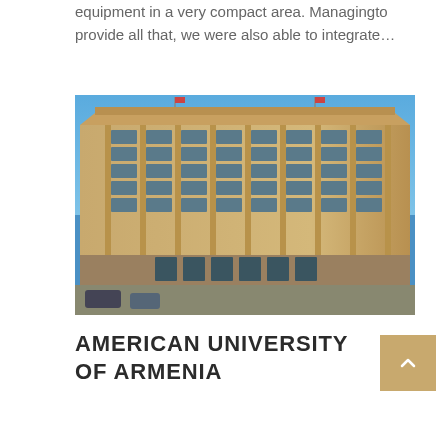equipment in a very compact area. Managingto provide all that, we were also able to integrate...
[Figure (photo): Exterior photograph of the American University of Armenia building — a large multi-story brutalist/Soviet-style stone building with a blue sky background, featuring rows of windows and a grand entrance.]
AMERICAN UNIVERSITY OF ARMENIA